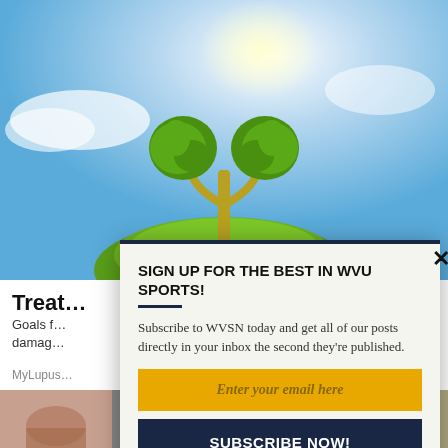[Figure (photo): Stylized green kidney-shaped topiary plants growing from a grassy mound held in hands, set against a blue sky background.]
Treat…
Goals f… damag…
MyLupus…
[Figure (photo): Bottom thumbnail strip with partial images]
SIGN UP FOR THE BEST IN WVU SPORTS!
Subscribe to WVSN today and get all of our posts directly in your inbox the second they're published.
Enter your email here
SUBSCRIBE NOW!
We respect your privacy and will never sell your info